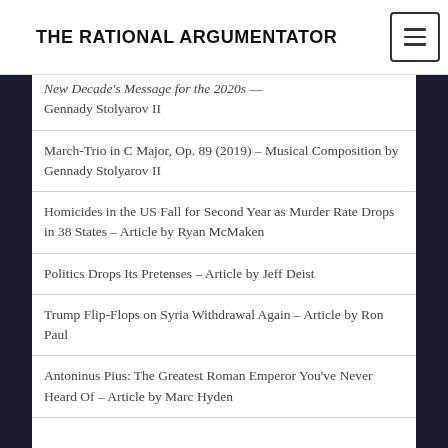THE RATIONAL ARGUMENTATOR
New Decade's Message for the 2020s — Gennady Stolyarov II
March-Trio in C Major, Op. 89 (2019) – Musical Composition by Gennady Stolyarov II
Homicides in the US Fall for Second Year as Murder Rate Drops in 38 States – Article by Ryan McMaken
Politics Drops Its Pretenses – Article by Jeff Deist
Trump Flip-Flops on Syria Withdrawal Again – Article by Ron Paul
Antoninus Pius: The Greatest Roman Emperor You've Never Heard Of – Article by Marc Hyden